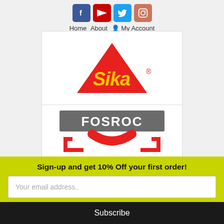Home  About  My Account
[Figure (logo): Sika brand logo — red triangle with yellow 'Sika' script and registered trademark symbol]
[Figure (logo): Fosroc brand logo — grey rectangle with white 'FOSROC' text above red stylized bracket/arrow shape]
Sign-up and get 10% Off your first order!
Your email address..
Subscribe